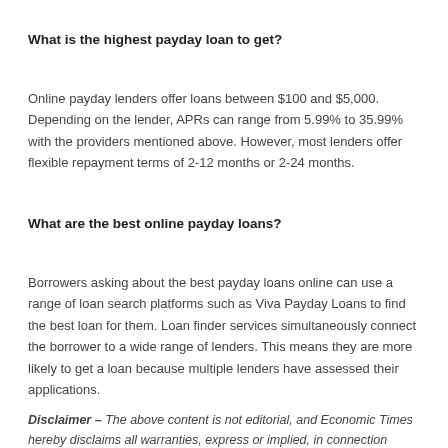What is the highest payday loan to get?
Online payday lenders offer loans between $100 and $5,000. Depending on the lender, APRs can range from 5.99% to 35.99% with the providers mentioned above. However, most lenders offer flexible repayment terms of 2-12 months or 2-24 months.
What are the best online payday loans?
Borrowers asking about the best payday loans online can use a range of loan search platforms such as Viva Payday Loans to find the best loan for them. Loan finder services simultaneously connect the borrower to a wide range of lenders. This means they are more likely to get a loan because multiple lenders have assessed their applications.
Disclaimer – The above content is not editorial, and Economic Times hereby disclaims all warranties, express or implied, in connection